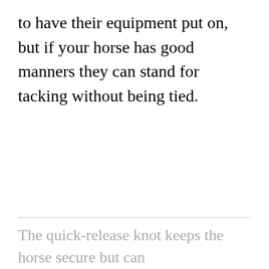to have their equipment put on, but if your horse has good manners they can stand for tacking without being tied.
The quick-release knot keeps the horse secure but can